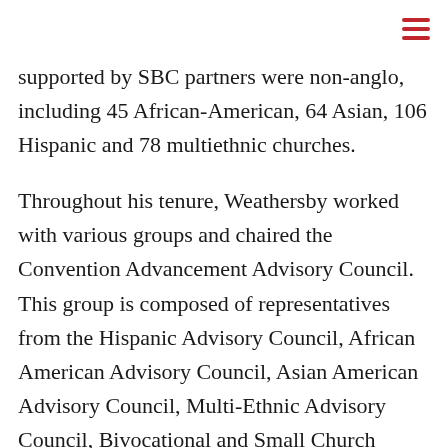supported by SBC partners were non-anglo, including 45 African-American, 64 Asian, 106 Hispanic and 78 multiethnic churches.
Throughout his tenure, Weathersby worked with various groups and chaired the Convention Advancement Advisory Council. This group is composed of representatives from the Hispanic Advisory Council, African American Advisory Council, Asian American Advisory Council, Multi-Ethnic Advisory Council, Bivocational and Small Church Advisory Council, Women's Advisory Council and Young Leaders Advisory Council.